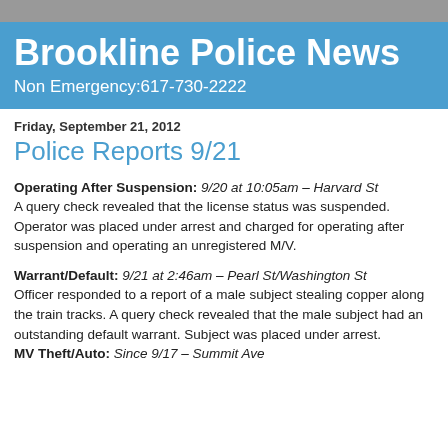Brookline Police News
Non Emergency:617-730-2222
Friday, September 21, 2012
Police Reports 9/21
Operating After Suspension: 9/20 at 10:05am – Harvard St A query check revealed that the license status was suspended. Operator was placed under arrest and charged for operating after suspension and operating an unregistered M/V.
Warrant/Default: 9/21 at 2:46am – Pearl St/Washington St Officer responded to a report of a male subject stealing copper along the train tracks. A query check revealed that the male subject had an outstanding default warrant. Subject was placed under arrest.
MV Theft/Auto: Since 9/17 – Summit Ave